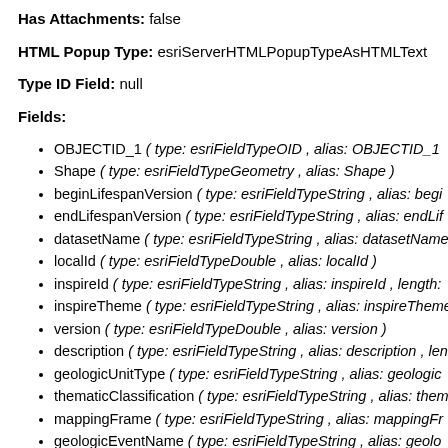Has Attachments: false
HTML Popup Type: esriServerHTMLPopupTypeAsHTMLText
Type ID Field: null
Fields:
OBJECTID_1 ( type: esriFieldTypeOID , alias: OBJECTID_1
Shape ( type: esriFieldTypeGeometry , alias: Shape )
beginLifespanVersion ( type: esriFieldTypeString , alias: begi
endLifespanVersion ( type: esriFieldTypeString , alias: endLif
datasetName ( type: esriFieldTypeString , alias: datasetName
localId ( type: esriFieldTypeDouble , alias: localId )
inspireId ( type: esriFieldTypeString , alias: inspireId , length:
inspireTheme ( type: esriFieldTypeString , alias: inspireTheme
version ( type: esriFieldTypeDouble , alias: version )
description ( type: esriFieldTypeString , alias: description , len
geologicUnitType ( type: esriFieldTypeString , alias: geologic
thematicClassification ( type: esriFieldTypeString , alias: them
mappingFrame ( type: esriFieldTypeString , alias: mappingFr
geologicEventName ( type: esriFieldTypeString , alias: geolo
geologicEventEnvironment ( type: esriFieldTypeString , alias:
eventProcess ( type: esriFieldTypeString , alias: eventProces
scale ( type: esriFieldTypeString , alias: scale , length: 255 )